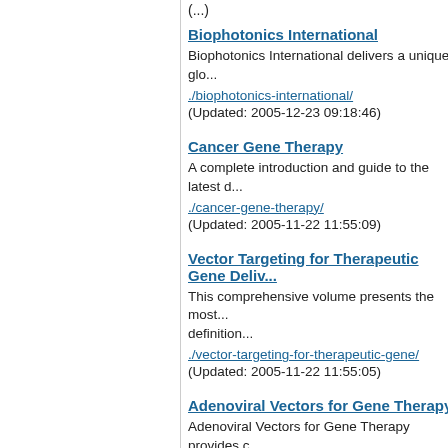(...)
Biophotonics International
Biophotonics International delivers a unique glo...
./biophotonics-international/
(Updated: 2005-12-23 09:18:46)
Cancer Gene Therapy
A complete introduction and guide to the latest d...
./cancer-gene-therapy/
(Updated: 2005-11-22 11:55:09)
Vector Targeting for Therapeutic Gene Deliv...
This comprehensive volume presents the most... definition...
./vector-targeting-for-therapeutic-gene/
(Updated: 2005-11-22 11:55:05)
Adenoviral Vectors for Gene Therapy
Adenoviral Vectors for Gene Therapy provides c... coverage...
./adenoviral-vectors-for-gene/
(Updated: 2005-11-22 11:53:00)